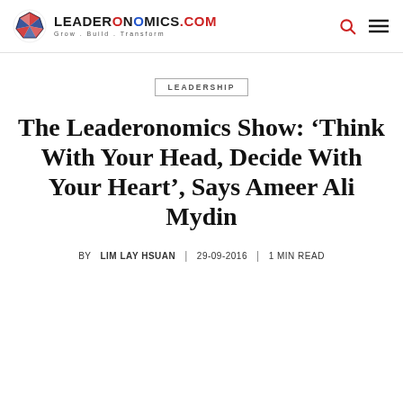LEADERONOMICS.COM | Grow . Build . Transform
LEADERSHIP
The Leaderonomics Show: ‘Think With Your Head, Decide With Your Heart’, Says Ameer Ali Mydin
BY LIM LAY HSUAN | 29-09-2016 | 1 MIN READ